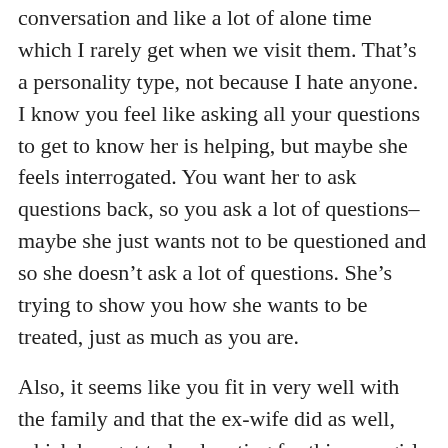conversation and like a lot of alone time which I rarely get when we visit them. That’s a personality type, not because I hate anyone. I know you feel like asking all your questions to get to know her is helping, but maybe she feels interrogated. You want her to ask questions back, so you ask a lot of questions– maybe she just wants not to be questioned and so she doesn’t ask a lot of questions. She’s trying to show you how she wants to be treated, just as much as you are.
Also, it seems like you fit in very well with the family and that the ex-wife did as well, which has got to be daunting for this new girl. My husband and I live 1000 miles from his family. We met here, we live here, and so at most I’ve spent like a week at a time with his family and always all of us